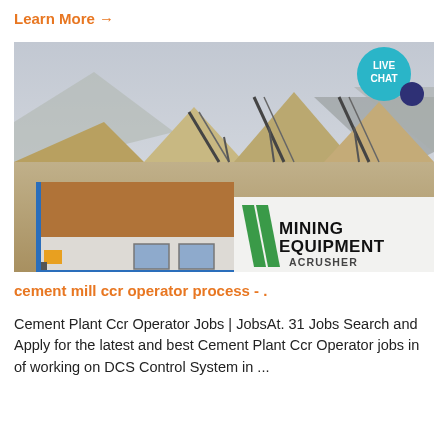Learn More →
[Figure (photo): Mining or quarry site with conveyor belts, gravel heaps, mountains in background, and a site office building in foreground. MINING EQUIPMENT ACRUSHER branding visible in lower right.]
cement mill ccr operator process - .
Cement Plant Ccr Operator Jobs | JobsAt. 31 Jobs Search and Apply for the latest and best Cement Plant Ccr Operator jobs in of working on DCS Control System in ...